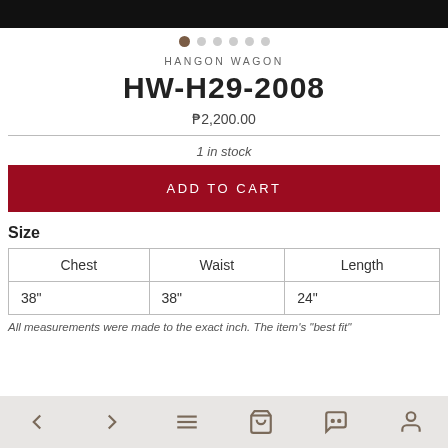[Figure (screenshot): Top black bar with image carousel dot indicators]
HANGON WAGON
HW-H29-2008
₱2,200.00
1 in stock
ADD TO CART
Size
| Chest | Waist | Length |
| --- | --- | --- |
| 38" | 38" | 24" |
All measurements were made to the exact inch. The item's "best fit"
Navigation bar with back, forward, menu, cart, chat, and profile icons